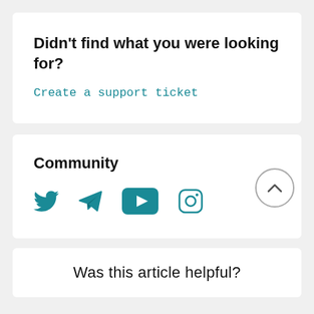Didn't find what you were looking for?
Create a support ticket
Community
[Figure (infographic): Social media icons: Twitter (bird), Telegram (paper plane), YouTube (play button in teal rectangle), Instagram (camera outline)]
[Figure (other): Scroll to top button: circle with upward chevron arrow]
Was this article helpful?